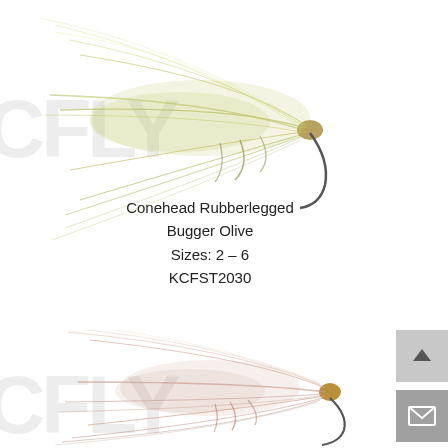[Figure (photo): Close-up photo of an olive-colored conehead rubberlegged bugger fly fishing lure with feathered body and conehead, on white background with watermark]
Conehead Rubberlegged
Bugger Olive
Sizes: 2 – 6
KCFST2030
[Figure (photo): Close-up photo of a pink/tan colored rubberlegged bugger fly fishing lure with fluffy feathered body on white background with watermark]